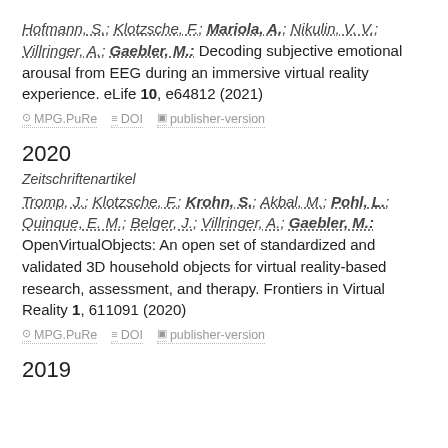Hofmann, S.; Klotzsche, F.; Mariola, A.; Nikulin, V. V.; Villringer, A.; Gaebler, M.: Decoding subjective emotional arousal from EEG during an immersive virtual reality experience. eLife 10, e64812 (2021)
MPG.PuRe   DOI   publisher-version
2020
Zeitschriftenartikel
Tromp, J.; Klotzsche, F.; Krohn, S.; Akbal, M.; Pohl, L.; Quinque, E. M.; Belger, J.; Villringer, A.; Gaebler, M.: OpenVirtualObjects: An open set of standardized and validated 3D household objects for virtual reality-based research, assessment, and therapy. Frontiers in Virtual Reality 1, 611091 (2020)
MPG.PuRe   DOI   publisher-version
2019